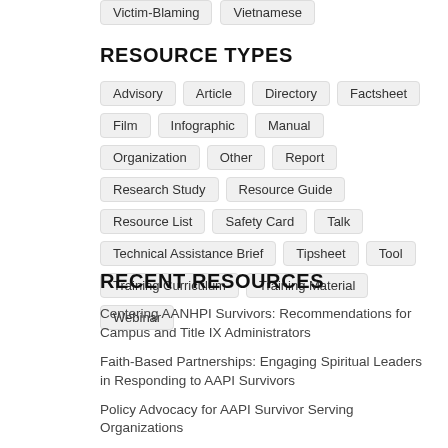Victim-Blaming
Vietnamese
RESOURCE TYPES
Advisory
Article
Directory
Factsheet
Film
Infographic
Manual
Organization
Other
Report
Research Study
Resource Guide
Resource List
Safety Card
Talk
Technical Assistance Brief
Tipsheet
Tool
Training Curriculum
Training Material
Webinar
RECENT RESOURCES
Centering AANHPI Survivors: Recommendations for Campus and Title IX Administrators
Faith-Based Partnerships: Engaging Spiritual Leaders in Responding to AAPI Survivors
Policy Advocacy for AAPI Survivor Serving Organizations
Apply now! Grants & Compliance manager